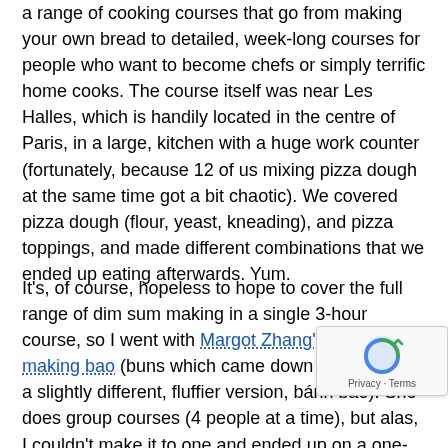a range of cooking courses that go from making your own bread to detailed, week-long courses for people who want to become chefs or simply terrific home cooks. The course itself was near Les Halles, which is handily located in the centre of Paris, in a large, kitchen with a huge work counter (fortunately, because 12 of us mixing pizza dough at the same time got a bit chaotic). We covered pizza dough (flour, yeast, kneading), and pizza toppings, and made different combinations that we ended up eating afterwards. Yum.
It's, of course, hopeless to hope to cover the full range of dim sum making in a single 3-hour course, so I went with Margot Zhang's course on making bao (buns which came down to Vietnam in a slightly different, fluffier version, bánh bao). She does group courses (4 people at a time), but alas, I couldn't make it to one and ended up on a one-on-one course. Margot is awesome and very knowledgeable, and covered everything from making the dough to folding the pleats neatly. My first attempts were disasters. The picture you see above is my...